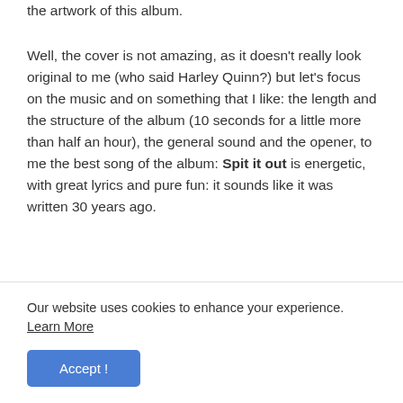the artwork of this album.
Well, the cover is not amazing, as it doesn't really look original to me (who said Harley Quinn?) but let's focus on the music and on something that I like: the length and the structure of the album (10 seconds for a little more than half an hour), the general sound and the opener, to me the best song of the album: Spit it out is energetic, with great lyrics and pure fun: it sounds like it was written 30 years ago.
The album is very enjoyable but honestly, apart from
Our website uses cookies to enhance your experience.
Learn More
Accept !